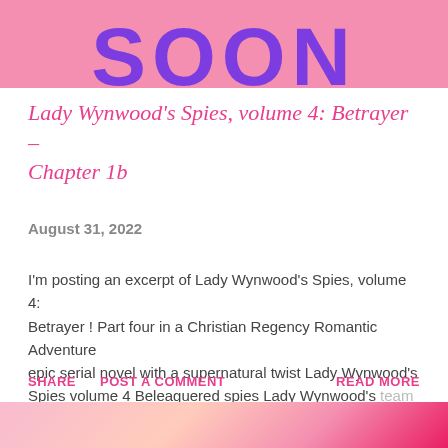[Figure (other): Pink banner with large purple bold text reading 'SOON' partially cropped at top]
Lady Wynwood's Spies, volume 4: Betrayer – Chapter 1b
August 31, 2022
I'm posting an excerpt of Lady Wynwood's Spies, volume 4: Betrayer ! Part four in a Christian Regency Romantic Adventure epic serial novel with a supernatural twist Lady Wynwood's Spies volume 4 Beleaguered spies Lady Wynwood's team of sp …
SHARE   POST A COMMENT   READ MORE
[Figure (photo): Partial bottom image showing a pink/floral scene, cropped]